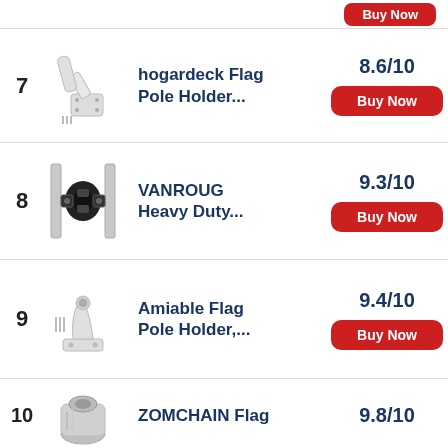7 hogardeck Flag Pole Holder... 8.6/10
8 VANROUG Heavy Duty... 9.3/10
9 Amiable Flag Pole Holder,... 9.4/10
10 ZOMCHAIN Flag 9.8/10